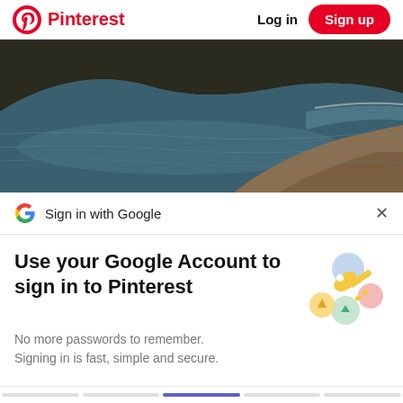Pinterest  Log in  Sign up
[Figure (photo): Aerial view of a coastal bay with dark blue water, rocky cliffs, and a curved shoreline road]
Sign in with Google
Use your Google Account to sign in to Pinterest
No more passwords to remember. Signing in is fast, simple and secure.
[Figure (illustration): Google key illustration with colorful circles and a golden key]
Continue